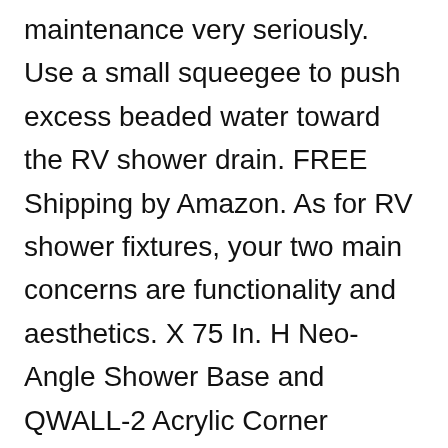maintenance very seriously. Use a small squeegee to push excess beaded water toward the RV shower drain. FREE Shipping by Amazon. As for RV shower fixtures, your two main concerns are functionality and aesthetics. X 75 In. H Neo-Angle Shower Base and QWALL-2 Acrylic Corner Backwall Kit in White, DL-6040C-01, DreamLine Cornerview 34 1/2 in. Then, find your RVâs shower access panel and disconnect all of the pipes. W x 2 3/4 in. The RV shower pan is just the floor of your shower. While the former is usually less expensive upfront, the latter is sturdier, longer lasting, and just as flexible. This helps not only to illuminate the stall, but on sunny days, can provide lots of warmth to an otherwise cold clean up.